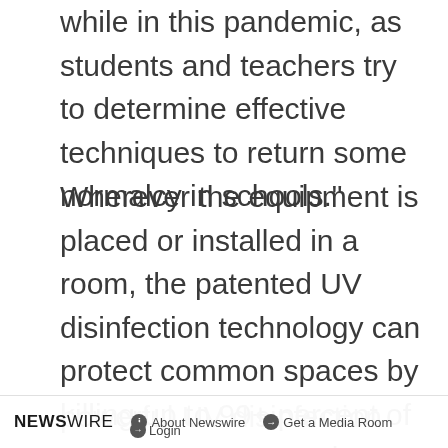while in this pandemic, as students and teachers try to determine effective techniques to return some normalcy in schools."
Wherever the equipment is placed or installed in a room, the patented UV disinfection technology can protect common spaces by killing up to 99+ percent of SARS-CoV-2, Norovirus, and influenza in the air and on surfaces. The systems can be manually activated or render a 30-minute disinfection cycle completely autonomously, enabling businesses and schools to incorporate powerful UV disinfection when and where they need it most. This
NEWSWIRE  ℹ About Newswire  ➡ Get a Media Room  ➡ Login